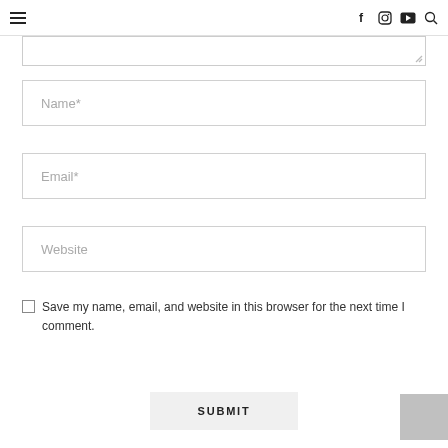≡  f  [instagram]  [youtube]  [search]
[Figure (screenshot): Textarea input field (partially visible, with resize handle)]
Name*
Email*
Website
Save my name, email, and website in this browser for the next time I comment.
SUBMIT